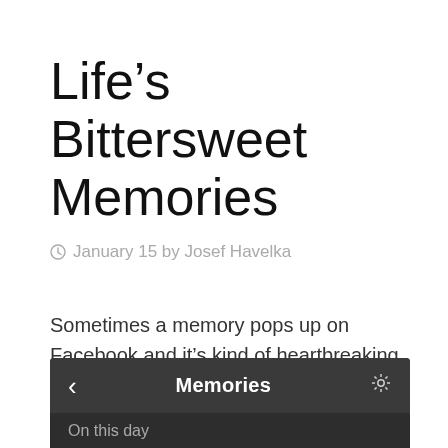Life’s Bittersweet Memories
◷ January 15 by Josef Havelka
Sometimes a memory pops up on Facebook and it’s kind of heartbreaking. Today hit me unexpectedly, again…
[Figure (screenshot): Facebook Memories app bar screenshot showing back chevron, 'Memories' title, settings gear icon, and 'On this day' label on dark background]